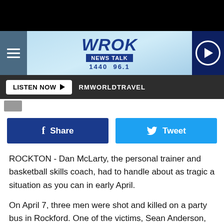[Figure (screenshot): WROK News Talk 1440 96.1 radio station website header with hamburger menu, logo, and play button]
LISTEN NOW ▶  RMWORLDTRAVEL
ROCKTON - Dan McLarty, the personal trainer and basketball skills coach, had to handle about as tragic a situation as you can in early April.
On April 7, three men were shot and killed on a party bus in Rockford. One of the victims, Sean Anderson, was father and step-father to two promising basketball players. Both were working out at McLarty's gym in Rockton when their grandfather received notification that their father was dead.